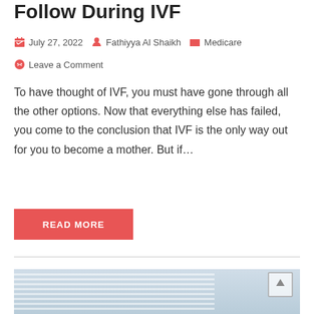Follow During IVF
July 27, 2022   Fathiyya Al Shaikh   Medicare   Leave a Comment
To have thought of IVF, you must have gone through all the other options. Now that everything else has failed, you come to the conclusion that IVF is the only way out for you to become a mother. But if…
READ MORE
[Figure (photo): A person in a medical/office setting with window blinds in the background and a framed item on the wall]